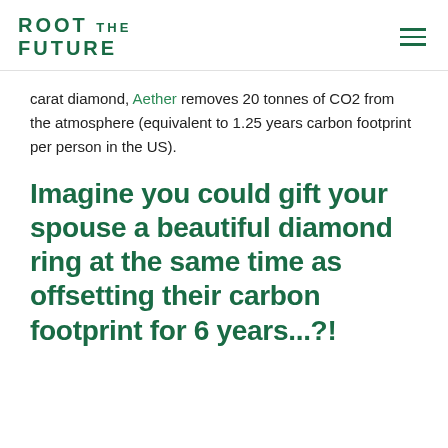ROOT THE FUTURE
carat diamond, Aether removes 20 tonnes of CO2 from the atmosphere (equivalent to 1.25 years carbon footprint per person in the US).
Imagine you could gift your spouse a beautiful diamond ring at the same time as offsetting their carbon footprint for 6 years...?!